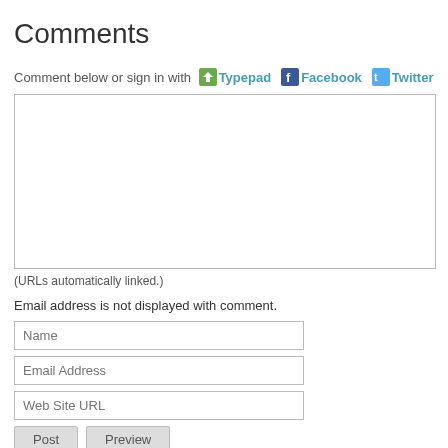Comments
Comment below or sign in with Typepad Facebook Twitter
[Figure (other): Comment text area input box]
(URLs automatically linked.)
Email address is not displayed with comment.
Name input field
Email Address input field
Web Site URL input field
Post and Preview buttons